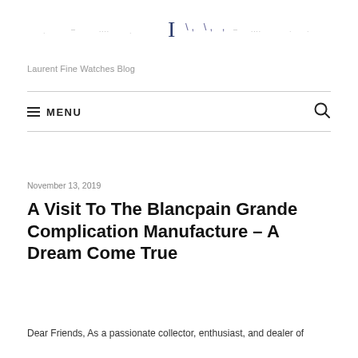[Laurent Fine Watches logo/navigation bar]
Laurent Fine Watches Blog
MENU
November 13, 2019
A Visit To The Blancpain Grande Complication Manufacture – A Dream Come True
Dear Friends, As a passionate collector, enthusiast, and dealer of